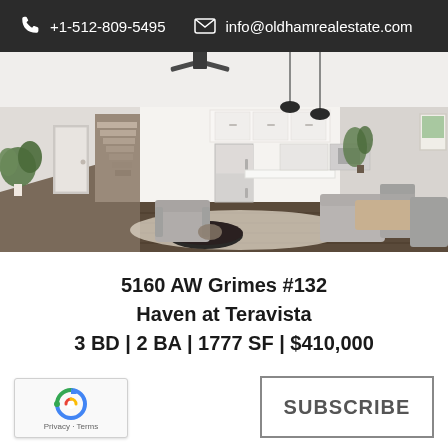+1-512-809-5495  info@oldhamrealestate.com
[Figure (photo): Interior photo of a modern open-plan living room, kitchen and dining area with white cabinets, dark hardwood floors, grey upholstered furniture, a round black coffee table, pendant lights, ceiling fan, and houseplants.]
5160 AW Grimes #132
Haven at Teravista
3 BD | 2 BA | 1777 SF | $410,000